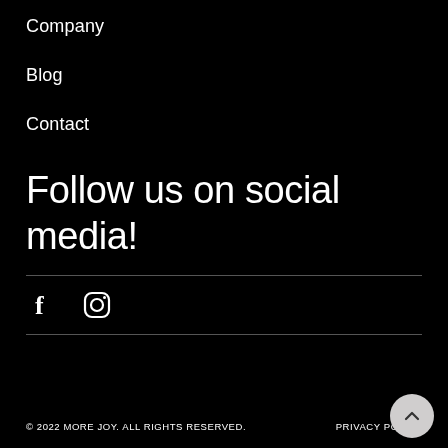Company
Blog
Contact
Follow us on social media!
[Figure (other): Facebook and Instagram social media icons]
© 2022 MORE JOY. ALL RIGHTS RESERVED.    PRIVACY POLICY